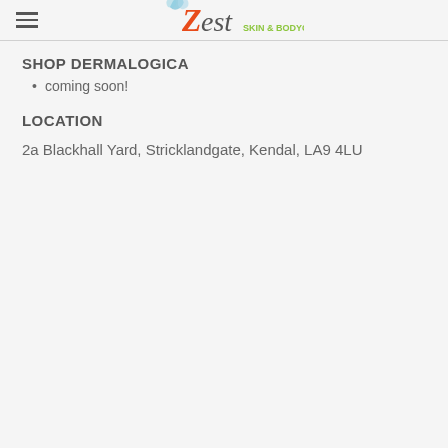Zest Skin & Bodycare
SHOP DERMALOGICA
coming soon!
LOCATION
2a Blackhall Yard, Stricklandgate, Kendal, LA9 4LU